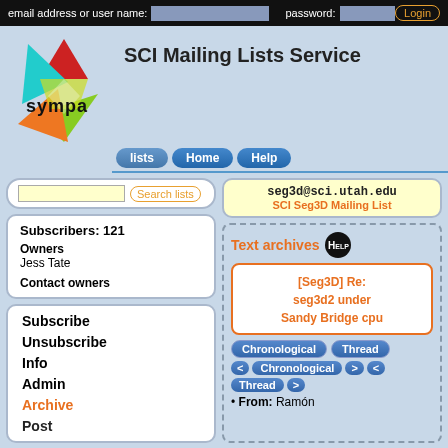email address or user name: [input] password: [input] Login
[Figure (logo): Sympa mailing list software logo - colorful star/origami shape with text 'sympa']
SCI Mailing Lists Service
lists  Home  Help
Search lists
seg3d@sci.utah.edu
SCI Seg3D Mailing List
Subscribers: 121
Owners
Jess Tate
Contact owners
Subscribe
Unsubscribe
Info
Admin
Archive
Post
Text archives HELP
[Seg3D] Re: seg3d2 under Sandy Bridge cpu
Chronological  Thread
< Chronological >  < Thread >
From: Ramón